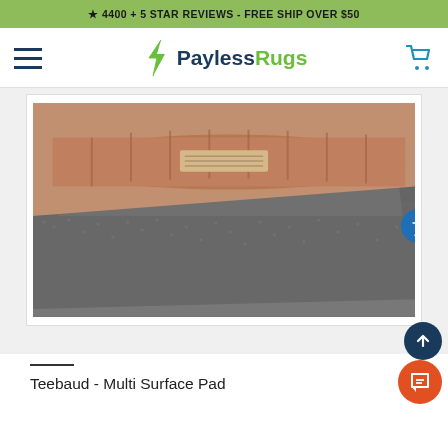★ 4400 + 5 STAR REVIEWS - FREE SHIP OVER $50
[Figure (logo): PaylessRugs logo with hamburger menu icon on left and cart icon on right]
[Figure (photo): Close-up photo of a gray rug pad (Teebaud Multi Surface Pad) with a rolled rug visible in the background]
Teebaud - Multi Surface Pad